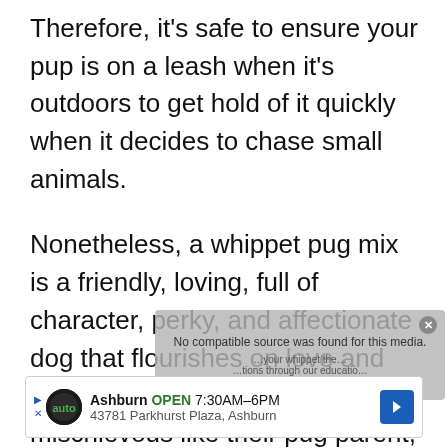Therefore, it's safe to ensure your pup is on a leash when it's outdoors to get hold of it quickly when it decides to chase small animals.
Nonetheless, a whippet pug mix is a friendly, loving, full of character, perky, and affectionate dog that flourishes on love and companionship. They may be mischievous like their pug parent, but it's nothing that you can't handle.
[Figure (other): Video overlay box with text 'No compatible source was found for this media.' and subtext about whippet education recommendations]
[Figure (other): Advertisement banner: Ashburn OPEN 7:30AM-6PM, 43781 Parkhurst Plaza, Ashburn with auto logo and navigation arrow]